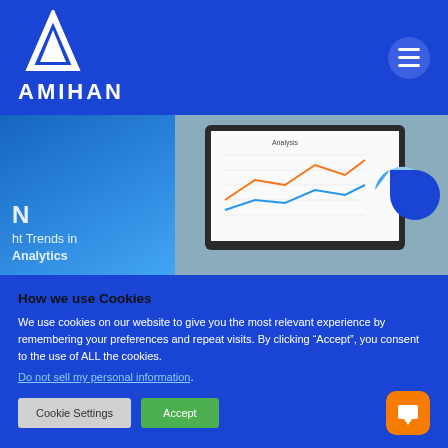AMIHAN
[Figure (screenshot): Hero banner showing laptop with analytics charts and pie chart, with text 'N' and 'ht Trends in Analytics' on the left blue panel]
How we use Cookies
We use cookies on our website to give you the most relevant experience by remembering your preferences and repeat visits. By clicking “Accept”, you consent to the use of ALL the cookies.
Do not sell my personal information.
Cookie Settings   Accept